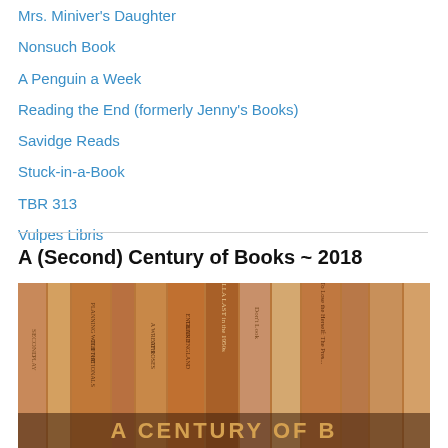Mrs. Miniver's Daughter
Nonsuch Book
A Penguin a Week
Reading the End (formerly Jenny's Books)
Savidge Reads
Stuck-in-a-Book
TBR 313
Vulpes Libris
A (Second) Century of Books ~ 2018
[Figure (photo): Sepia-toned photo of a row of old books on a shelf, with spines visible showing titles including 'Nella Last in the 1950s', 'Don't Look', and others. Text at bottom reads 'A CENTURY OF B...']